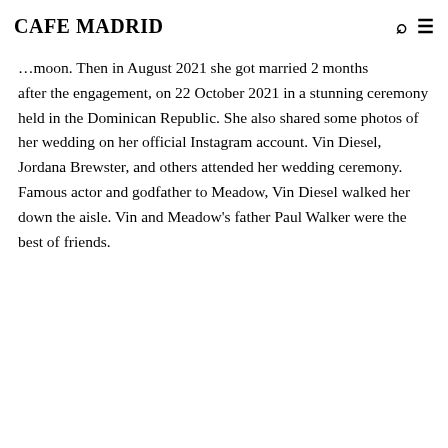CAFE MADRID
…moon. Then in August 2021 she got married 2 months after the engagement, on 22 October 2021 in a stunning ceremony held in the Dominican Republic. She also shared some photos of her wedding on her official Instagram account. Vin Diesel, Jordana Brewster, and others attended her wedding ceremony. Famous actor and godfather to Meadow, Vin Diesel walked her down the aisle. Vin and Meadow's father Paul Walker were the best of friends.